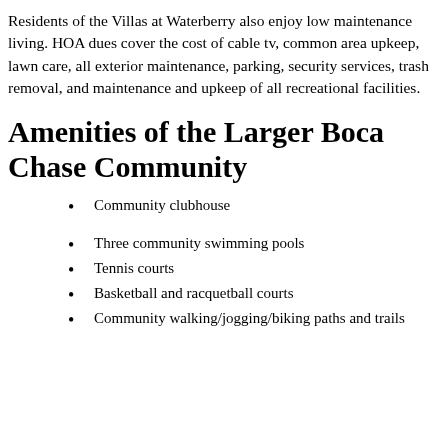Residents of the Villas at Waterberry also enjoy low maintenance living. HOA dues cover the cost of cable tv, common area upkeep, lawn care, all exterior maintenance, parking, security services, trash removal, and maintenance and upkeep of all recreational facilities.
Amenities of the Larger Boca Chase Community
Community clubhouse
Three community swimming pools
Tennis courts
Basketball and racquetball courts
Community walking/jogging/biking paths and trails